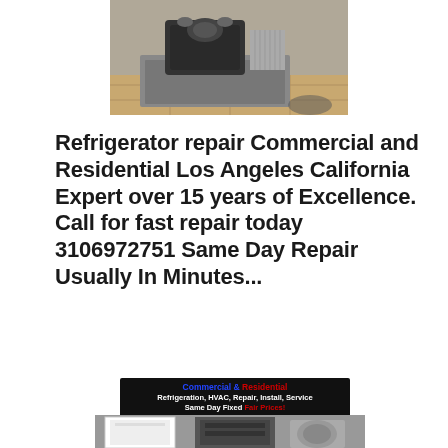[Figure (photo): Photo of commercial refrigeration/HVAC equipment, a compressor unit installed on a tiled surface]
Refrigerator repair Commercial and Residential Los Angeles California Expert over 15 years of Excellence. Call for fast repair today 3106972751 Same Day Repair Usually In Minutes...
[Figure (infographic): Black background ad banner reading: Commercial & Residential / Refrigeration, HVAC, Repair, Install, Service / Same Day Fixed Fair Prices! / Call Now 1 310 697-2751]
[Figure (photo): Photo of commercial refrigeration units and HVAC equipment at bottom of page]